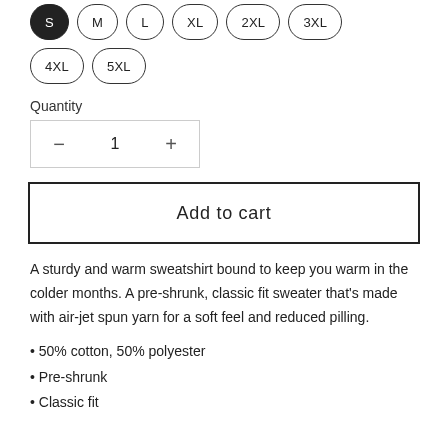S (selected), M, L, XL, 2XL, 3XL
4XL, 5XL
Quantity
1
Add to cart
A sturdy and warm sweatshirt bound to keep you warm in the colder months. A pre-shrunk, classic fit sweater that's made with air-jet spun yarn for a soft feel and reduced pilling.
50% cotton, 50% polyester
Pre-shrunk
Classic fit